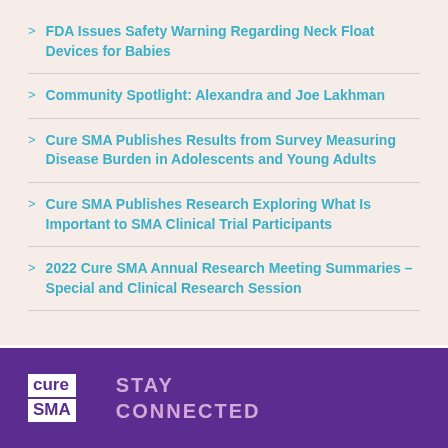FDA Issues Safety Warning Regarding Neck Float Devices for Babies
Community Spotlight: Alexandra and Joe Lakhman
Cure SMA Publishes Results from Survey Measuring Disease Burden in Adolescents and Young Adults
Cure SMA Publishes Research Exploring What Is Important to SMA Clinical Trial Participants
2022 Cure SMA Annual Research Meeting Summaries – Special and Clinical Research Session
Cure SMA  STAY CONNECTED